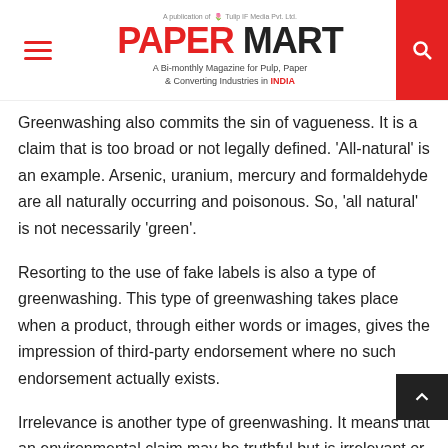PAPER MART — A Bi-monthly Magazine for Pulp, Paper & Converting Industries in INDIA
Greenwashing also commits the sin of vagueness. It is a claim that is too broad or not legally defined. 'All-natural' is an example. Arsenic, uranium, mercury and formaldehyde are all naturally occurring and poisonous. So, 'all natural' is not necessarily 'green'.
Resorting to the use of fake labels is also a type of greenwashing. This type of greenwashing takes place when a product, through either words or images, gives the impression of third-party endorsement where no such endorsement actually exists.
Irrelevance is another type of greenwashing. It means that an environmental claim may be truthful but is irrelevant or unhelpful. For example, 'CFC-free'. It is a frequent claim despite the fact that Chlorofluorocarbons (CFCs) are banned by law.